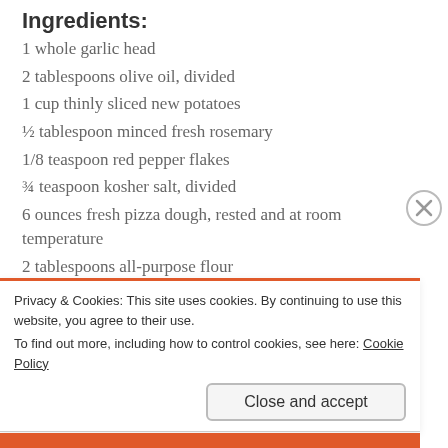Ingredients:
1 whole garlic head
2 tablespoons olive oil, divided
1 cup thinly sliced new potatoes
½ tablespoon minced fresh rosemary
1/8 teaspoon red pepper flakes
¾ teaspoon kosher salt, divided
6 ounces fresh pizza dough, rested and at room temperature
2 tablespoons all-purpose flour
½ tablespoon corn meal
2 large Safest Choice™ pasteurized eggs
Privacy & Cookies: This site uses cookies. By continuing to use this website, you agree to their use. To find out more, including how to control cookies, see here: Cookie Policy
Close and accept